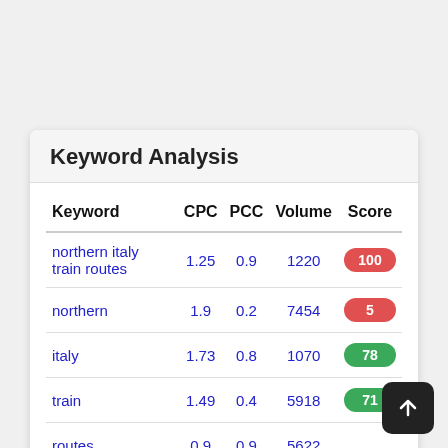Keyword Analysis
| Keyword | CPC | PCC | Volume | Score |
| --- | --- | --- | --- | --- |
| northern italy train routes | 1.25 | 0.9 | 1220 | 100 |
| northern | 1.9 | 0.2 | 7454 | 5 |
| italy | 1.73 | 0.8 | 1070 | 78 |
| train | 1.49 | 0.4 | 5918 | 71 |
| routes | 0.9 | 0.9 | 5622 |  |